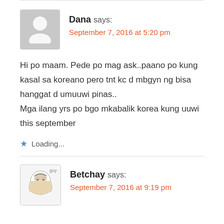[Figure (illustration): Gray placeholder avatar icon for user Dana]
Dana says:
September 7, 2016 at 5:20 pm
Hi po maam. Pede po mag ask..paano po kung kasal sa koreano pero tnt kc d mbgyn ng bisa hanggat d umuuwi pinas..
Mga ilang yrs po bgo mkabalik korea kung uuwi this september
Loading...
[Figure (illustration): Illustrated cartoon avatar for user Betchay]
Betchay says:
September 7, 2016 at 9:19 pm